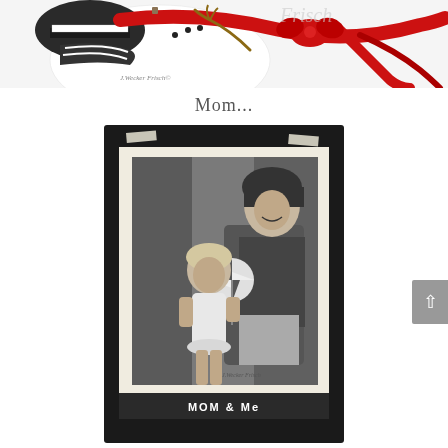[Figure (illustration): Illustrated artwork showing a Santa Claus or snowman figure with a red ribbon/scarf on a white background, signed 'J.Wecker Frisch']
Mom...
[Figure (photo): Black and white vintage photograph in a dark frame with tape corners showing a mother seated holding a pinwheel toy, with a toddler girl standing in front of her. Caption reads 'MOM & Me' with signature 'J.Wecker Frisch'.]